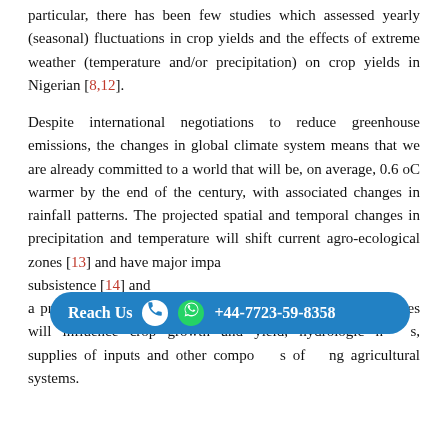particular, there has been few studies which assessed yearly (seasonal) fluctuations in crop yields and the effects of extreme weather (temperature and/or precipitation) on crop yields in Nigerian [8,12].
Despite international negotiations to reduce greenhouse emissions, the changes in global climate system means that we are already committed to a world that will be, on average, 0.6 oC warmer by the end of the century, with associated changes in rainfall patterns. The projected spatial and temporal changes in precipitation and temperature will shift current agro-ecological zones [13] and have major impacts on subsistence [14] and as a primary determinant of agricultural productivity, any changes will influence crop growth and yield, hydrologic cycles, supplies of inputs and other components of farming agricultural systems.
Several studies had been conducted to explain the